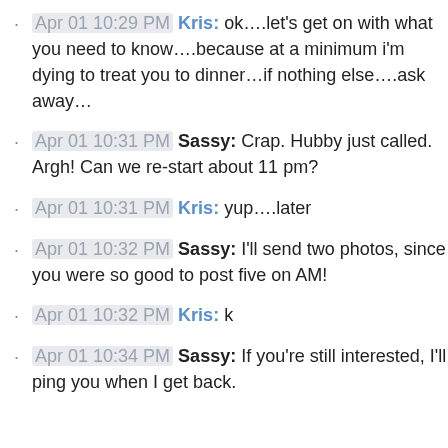Apr 01 10:29 PM Kris: ok….let's get on with what you need to know….because at a minimum i'm dying to treat you to dinner…if nothing else….ask away…
Apr 01 10:31 PM Sassy: Crap. Hubby just called. Argh! Can we re-start about 11 pm?
Apr 01 10:31 PM Kris: yup….later
Apr 01 10:32 PM Sassy: I'll send two photos, since you were so good to post five on AM!
Apr 01 10:32 PM Kris: k
Apr 01 10:34 PM Sassy: If you're still interested, I'll ping you when I get back.